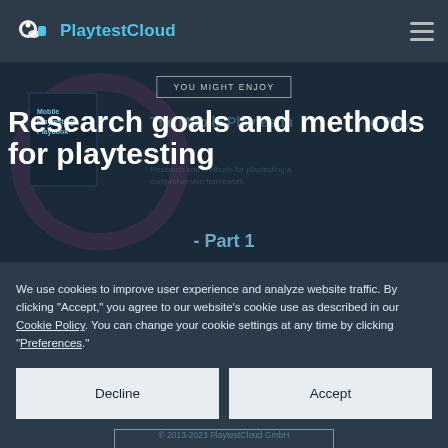PlaytestCloud
[Figure (screenshot): Hero banner showing 'The Mobile Playtesting Playbook' with book cover image and circle graphic in dark background]
YOU MIGHT ENJOY
Research goals and methods for playtesting
- Part 1
We use cookies to improve user experience and analyze website traffic. By clicking "Accept," you agree to our website's cookie use as described in our Cookie Policy. You can change your cookie settings at any time by clicking "Preferences."
Decline
Accept
Preferences
© 2013-2023 PlaytestCloud GmbH